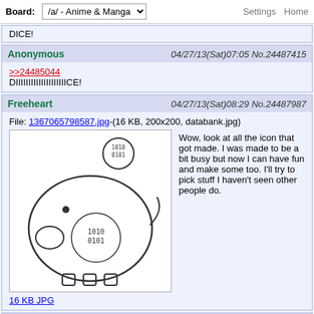Board: /a/ - Anime & Manga | Settings Home
DICE!
Anonymous 04/27/13(Sat)07:05 No.24487415
>>24485044
DIIIIIIIIIIIIIIIIIIIICE!
Freeheart 04/27/13(Sat)08:29 No.24487987
File: 1367065798587.jpg-(16 KB, 200x200, databank.jpg)
Wow, look at all the icon that got made. I was made to be a bit busy but now I can have fun and make some too. I'll try to pick stuff I haven't seen other people do.
16 KB JPG
Anonymous 04/27/13(Sat)08:36 No.24488026
Maybe Viral can post a list of features and defects that are still in trouble. So we can direct our efforts towards that.
Viral 04/27/13(Sat)08:39 No.24488040
>>24488026
Viral needs to get more than five hours of sleep before he does that